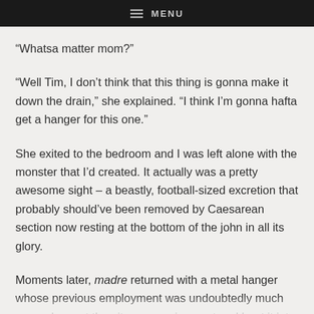≡ MENU
“Whatsa matter mom?”
“Well Tim, I don’t think that this thing is gonna make it down the drain,” she explained. “I think I’m gonna hafta get a hanger for this one.”
She exited to the bedroom and I was left alone with the monster that I’d created. It actually was a pretty awesome sight – a beastly, football-sized excretion that probably should’ve been removed by Caesarean section now resting at the bottom of the john in all its glory.
Moments later, madre returned with a metal hanger whose previous employment was undoubtedly much more pleasant than its new assignment and bent it into